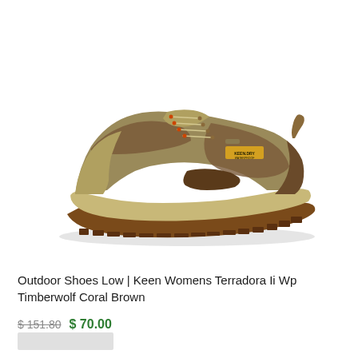[Figure (photo): Side profile photo of a Keen Womens Terradora II WP hiking shoe in Timberwolf Coral Brown colorway. The shoe features a tan/olive suede and mesh upper with brown accents, orange lace hooks, a KEEN.DRY waterproof membrane label, and a two-toned beige and brown rubber outsole with lug pattern.]
Outdoor Shoes Low | Keen Womens Terradora Ii Wp Timberwolf Coral Brown
$ 151.80  $ 70.00